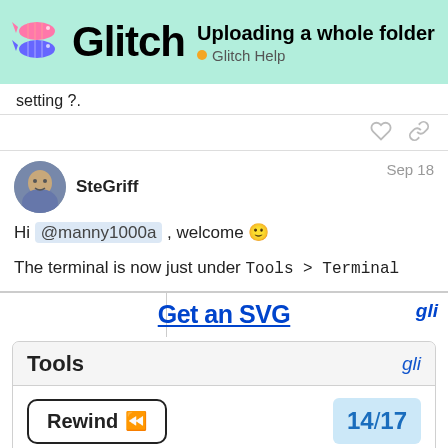Uploading a whole folder | Glitch Help
setting ?.
SteGriff  Sep 18
Hi @manny1000a , welcome 🙂
The terminal is now just under Tools > Terminal
[Figure (screenshot): Screenshot showing Glitch Tools menu with 'Rewind' button and '14/17' page indicator]
Tools
Rewind ⏪
14 / 17